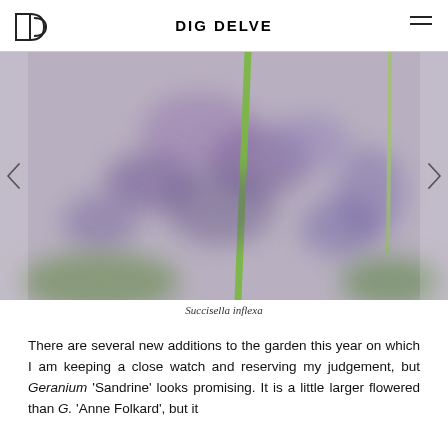DIG DELVE
[Figure (photo): Close-up blurred photograph of Succisella inflexa flowers with purple blooms and a green stem, on a muted grey-lavender background]
Succisella inflexa
There are several new additions to the garden this year on which I am keeping a close watch and reserving my judgement, but Geranium 'Sandrine' looks promising. It is a little larger flowered than G. 'Anne Folkard', but it